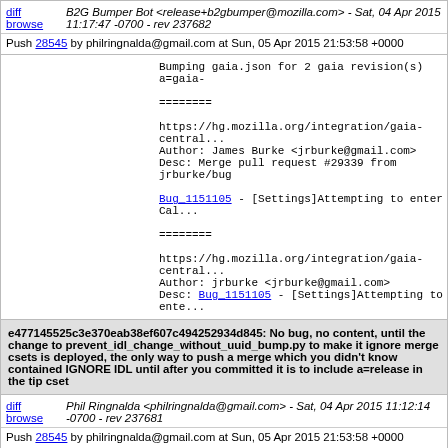diff browse | B2G Bumper Bot <release+b2gbumper@mozilla.com> - Sat, 04 Apr 2015 11:17:47 -0700 - rev 237682
Push 28545 by philringnalda@gmail.com at Sun, 05 Apr 2015 21:53:58 +0000
Bumping gaia.json for 2 gaia revision(s) a=gaia-...

========

https://hg.mozilla.org/integration/gaia-central...
Author: James Burke <jrburke@gmail.com>
Desc: Merge pull request #29339 from jrburke/bug...

Bug 1151105 - [Settings]Attempting to enter Call...

========

https://hg.mozilla.org/integration/gaia-central...
Author: jrburke <jrburke@gmail.com>
Desc: Bug 1151105 - [Settings]Attempting to ente...
e477145525c3e370eab38ef607c494252934d845: No bug, no content, until the change to prevent_idl_change_without_uuid_bump.py to make it ignore merge csets is deployed, the only way to push a merge which you didn't know contained IGNORE IDL until after you committed it is to include a=release in the tip cset
diff browse | Phil Ringnalda <philringnalda@gmail.com> - Sat, 04 Apr 2015 11:12:14 -0700 - rev 237681
Push 28545 by philringnalda@gmail.com at Sun, 05 Apr 2015 21:53:58 +0000